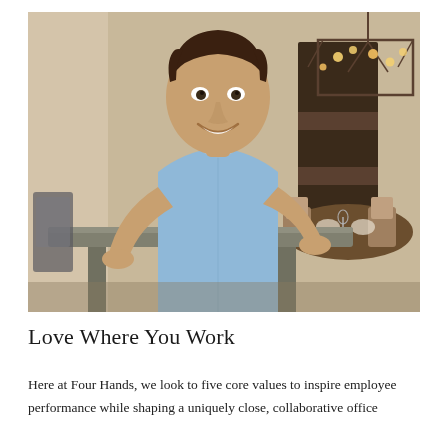[Figure (photo): A smiling man in a light blue button-down shirt leaning on a large rustic wooden dining table in a furniture showroom. Behind him are additional dining chairs, place settings, and a geometric metal chandelier with Edison bulbs.]
Love Where You Work
Here at Four Hands, we look to five core values to inspire employee performance while shaping a uniquely close, collaborative office